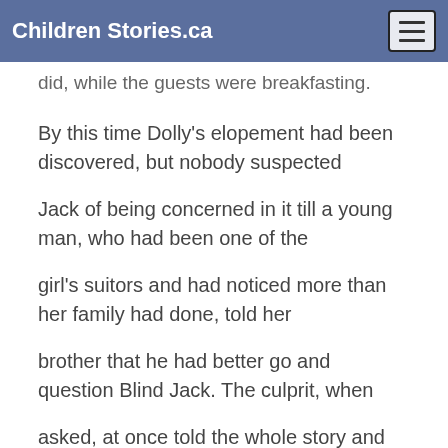Children Stories.ca
did, while the guests were breakfasting.
By this time Dolly's elopement had been discovered, but nobody suspected
Jack of being concerned in it till a young man, who had been one of the
girl's suitors and had noticed more than her family had done, told her
brother that he had better go and question Blind Jack. The culprit, when
asked, at once told the whole story and declared that he had only stolen